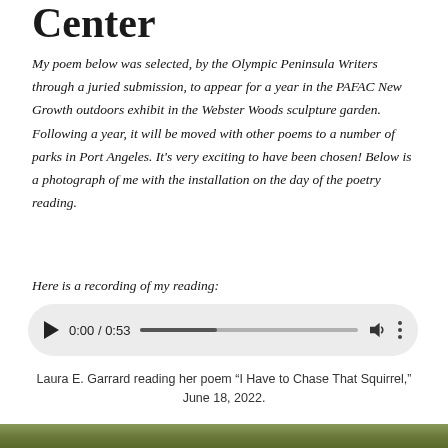Center
My poem below was selected, by the Olympic Peninsula Writers through a juried submission, to appear for a year in the PAFAC New Growth outdoors exhibit in the Webster Woods sculpture garden. Following a year, it will be moved with other poems to a number of parks in Port Angeles. It's very exciting to have been chosen! Below is a photograph of me with the installation on the day of the poetry reading.
Here is a recording of my reading:
[Figure (other): Audio player showing 0:00 / 0:53 with play button, progress bar, volume icon, and menu dots]
Laura E. Garrard reading her poem “I Have to Chase That Squirrel,” June 18, 2022.
[Figure (photo): Partial photo strip visible at bottom of page]